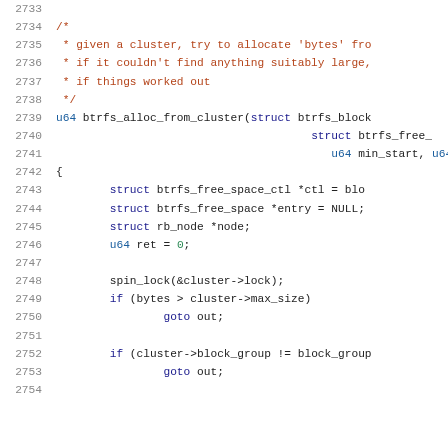[Figure (screenshot): Source code listing showing C code lines 2733-2754, featuring a function btrfs_alloc_from_cluster with comments, struct declarations, and control flow statements. Line numbers in grey on left, comment text in dark red/brown, keywords and types in blue, numbers in green.]